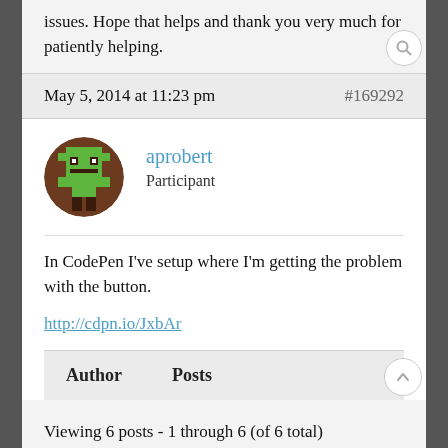issues. Hope that helps and thank you very much for patiently helping.
May 5, 2014 at 11:23 pm
#169292
[Figure (illustration): Pixel art avatar of a green character on brown background, circular crop]
aprobert
Participant
In CodePen I've setup where I'm getting the problem with the button.
http://cdpn.io/JxbAr
Author    Posts
Viewing 6 posts - 1 through 6 (of 6 total)
The forum 'CSS' is closed to new topics and replies.